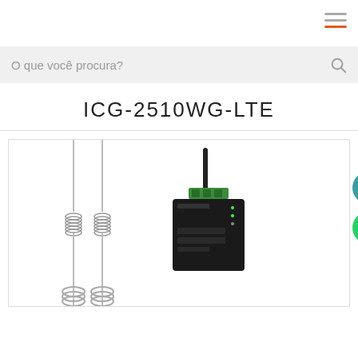O que você procura?
ICG-2510WG-LTE
[Figure (photo): Product photo showing two long whip antennas on the left and an ICG-2510WG-LTE wireless industrial router (black box with green terminal block and black antenna) on the right, along with two floating action buttons: a teal document/settings icon and a green WhatsApp icon.]